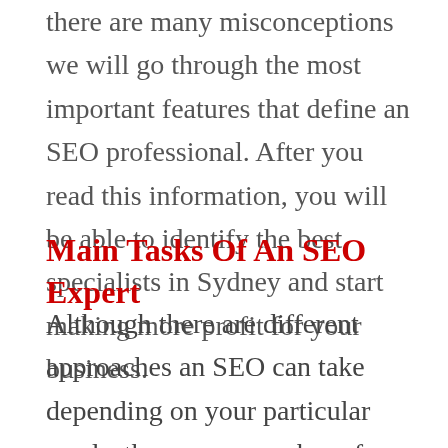there are many misconceptions we will go through the most important features that define an SEO professional. After you read this information, you will be able to identify the best specialists in Sydney and start making more profit for your business.
Main Tasks Of An SEO Expert
Although there are different approaches an SEO can take depending on your particular needs, there are a number of usual responsibilities that the firm will take care of. Among the main tasks of SEO, we can mention the programming of your website in order to